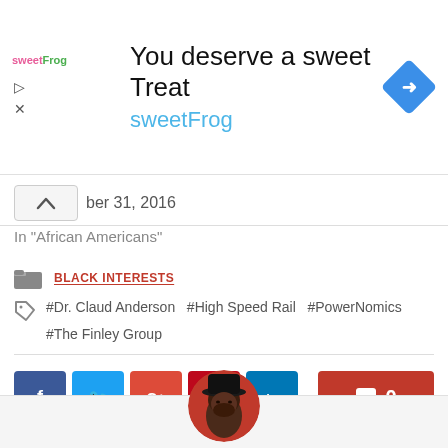[Figure (other): SweetFrog advertisement banner with logo, headline 'You deserve a sweet Treat', brand name 'sweetFrog', and a blue diamond navigation icon]
ber 31, 2016
In "African Americans"
BLACK INTERESTS
#Dr. Claud Anderson  #High Speed Rail  #PowerNomics
#The Finley Group
[Figure (other): Social sharing buttons: Facebook, Twitter, Google+, Pinterest, LinkedIn, and a comment count button showing 0]
[Figure (photo): Circular profile photo of a man wearing a black hat against a red background, partially cropped at bottom]